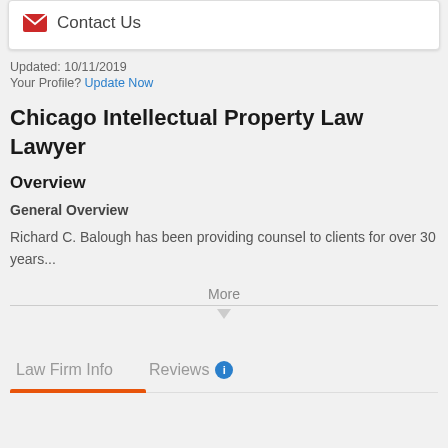[Figure (infographic): Mail icon (red envelope) next to 'Contact Us' text inside a white card]
Contact Us
Updated: 10/11/2019
Your Profile? Update Now
Chicago Intellectual Property Law Lawyer
Overview
General Overview
Richard C. Balough has been providing counsel to clients for over 30 years...
More
Law Firm Info
Reviews